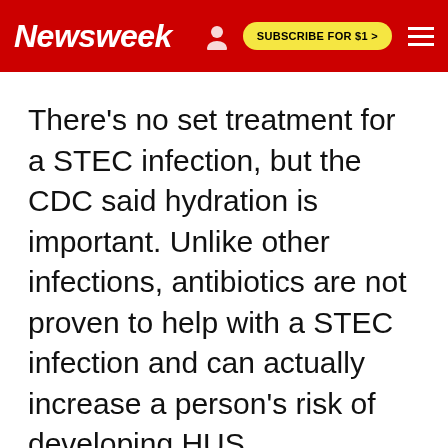Newsweek | SUBSCRIBE FOR $1 >
There's no set treatment for a STEC infection, but the CDC said hydration is important. Unlike other infections, antibiotics are not proven to help with a STEC infection and can actually increase a person's risk of developing HUS.